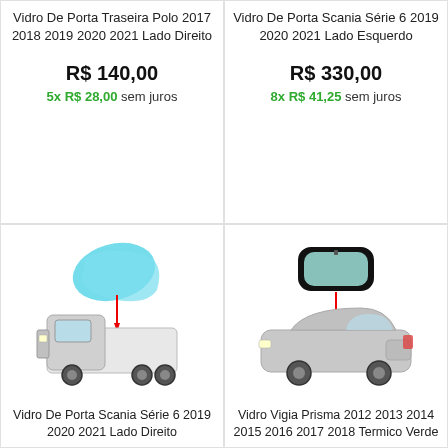Vidro De Porta Traseira Polo 2017 2018 2019 2020 2021 Lado Direito
R$ 140,00
5x R$ 28,00 sem juros
Vidro De Porta Scania Série 6 2019 2020 2021 Lado Esquerdo
R$ 330,00
8x R$ 41,25 sem juros
[Figure (photo): Scania truck with blue door glass highlighted]
Vidro De Porta Scania Série 6 2019 2020 2021 Lado Direito
[Figure (photo): Silver sedan car with green rear windshield glass highlighted]
Vidro Vigia Prisma 2012 2013 2014 2015 2016 2017 2018 Termico Verde